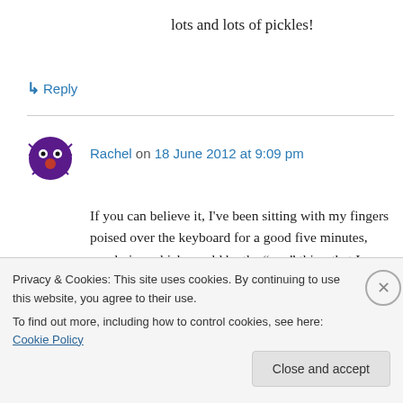lots and lots of pickles!
↳ Reply
Rachel on 18 June 2012 at 9:09 pm
If you can believe it, I've been sitting with my fingers poised over the keyboard for a good five minutes, pondering which would be the “one” thing that I can, if I had to can just one thing…. sour cherries are the winner.
Privacy & Cookies: This site uses cookies. By continuing to use this website, you agree to their use.
To find out more, including how to control cookies, see here: Cookie Policy
Close and accept